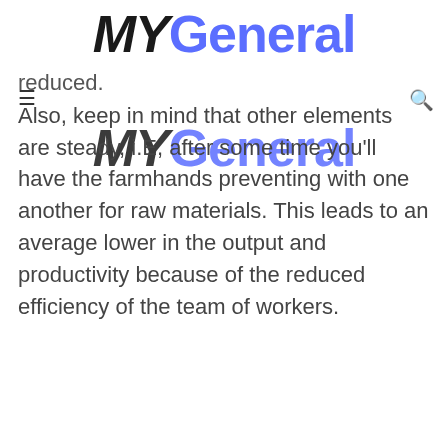MYGeneral
reduced.
Also, keep in mind that other elements are steady, i.E, after some time you'll have the farmhands preventing with one another for raw materials. This leads to an average lower in the output and productivity because of the reduced efficiency of the team of workers.